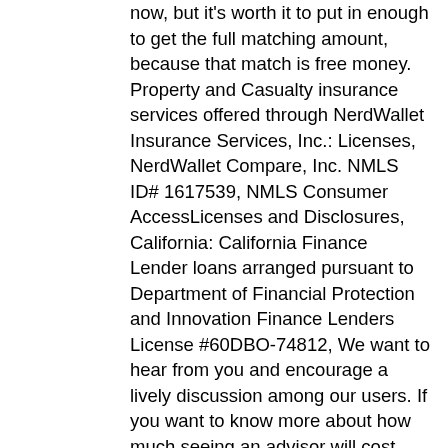now, but it's worth it to put in enough to get the full matching amount, because that match is free money. Property and Casualty insurance services offered through NerdWallet Insurance Services, Inc.: Licenses, NerdWallet Compare, Inc. NMLS ID# 1617539, NMLS Consumer AccessLicenses and Disclosures, California: California Finance Lender loans arranged pursuant to Department of Financial Protection and Innovation Finance Lenders License #60DBO-74812, We want to hear from you and encourage a lively discussion among our users. If you want to know more about how much seeing an advisor will cost, read our. 94% of Americans failed this financial quiz—here are the 4 … Pre-qualified offers are not binding. After that, the service monitors and regularly rebalances your investment mix to ensure you stay on track. The scoring formula for online brokers and robo-advisors takes into account over 15 factors, including account fees and minimums, investment choices, customer support and mobile app capabilities. They are the essentials. Individuals who want to have more control over their finances can create a